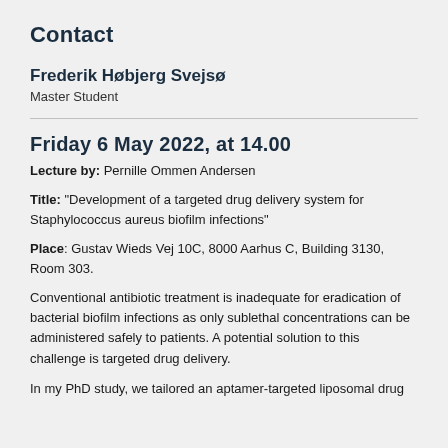Contact
Frederik Høbjerg Svejsø
Master Student
Friday 6 May 2022, at 14.00
Lecture by: Pernille Ommen Andersen
Title: "Development of a targeted drug delivery system for Staphylococcus aureus biofilm infections"
Place: Gustav Wieds Vej 10C, 8000 Aarhus C, Building 3130, Room 303.
Conventional antibiotic treatment is inadequate for eradication of bacterial biofilm infections as only sublethal concentrations can be administered safely to patients. A potential solution to this challenge is targeted drug delivery.
In my PhD study, we tailored an aptamer-targeted liposomal drug